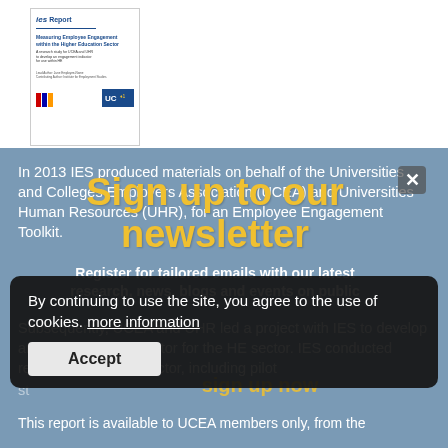[Figure (illustration): Thumbnail of IES Report cover: 'Measuring Employee Engagement within the Higher Education Sector' with IES and UCEA logos]
In 2013 IES produced materials on behalf of the Universities and Colleges Employers Association (UCEA) and Universities Human Resources (UHR), for an Employee Engagement Toolkit.
Sign up to our newsletter
Register for tailored emails with our latest research, news, blogs and events on public
sign up now
Subsequently, UCEA and UHR led a project with IES to develop an engagement indicator for the HE sector. IES conducted research in the HE sector, including pilot
By continuing to use the site, you agree to the use of cookies. more information
Accept
This report is available to UCEA members only,  from the